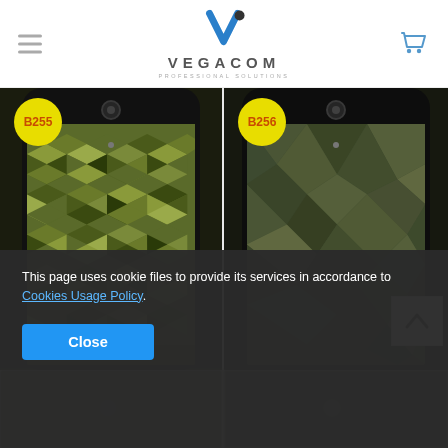[Figure (screenshot): Vegacom Professional Solutions website header with hamburger menu, logo, and shopping cart icon]
[Figure (photo): Phone case B255 with green camouflage cube pattern design]
[Figure (photo): Phone case B256 with dark green geometric polygon/low-poly pattern design]
[Figure (photo): Partially visible phone cases in bottom row, blurred/obscured by cookie banner]
This page uses cookie files to provide its services in accordance to Cookies Usage Policy.
Close